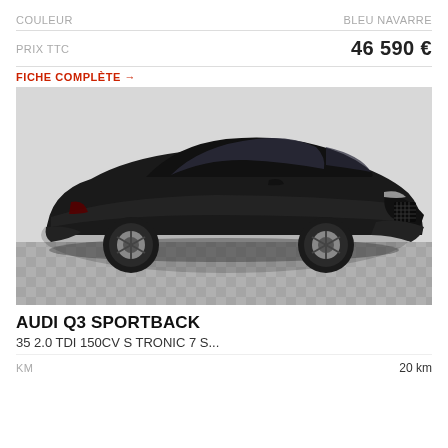COULEUR   BLEU NAVARRE
PRIX TTC   46590 €
FICHE COMPLÈTE →
[Figure (photo): Black Audi Q3 Sportback SUV photographed in a showroom from a 3/4 front-left angle. The car is dark/black color with large alloy wheels, displayed on a checkered floor tile, with a light grey background.]
AUDI Q3 SPORTBACK
35 2.0 TDI 150CV S TRONIC 7 S...
KM   20 km